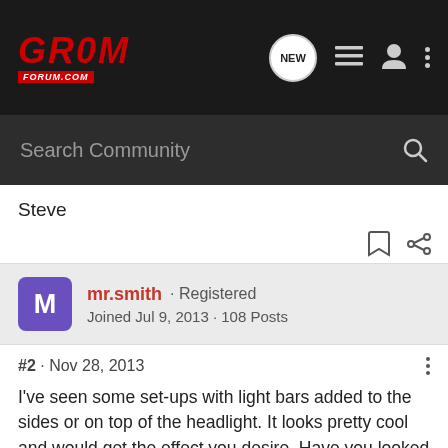GROM FORUM.COM
Search Community
Steve
mr.smith · Registered
Joined Jul 9, 2013 · 108 Posts
#2 · Nov 28, 2013
I've seen some set-ups with light bars added to the sides or on top of the headlight. It looks pretty cool and would get the effect you desire. Have you looked into these?